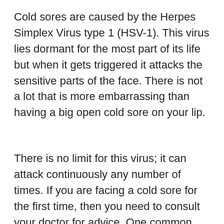Cold sores are caused by the Herpes Simplex Virus type 1 (HSV-1). This virus lies dormant for the most part of its life but when it gets triggered it attacks the sensitive parts of the face. There is not a lot that is more embarrassing than having a big open cold sore on your lip.
There is no limit for this virus; it can attack continuously any number of times. If you are facing a cold sore for the first time, then you need to consult your doctor for advice. One common method to make the virus dormant is to use DMSO (Di methyl Sulf oxide).
Dimethylsulfoxide is a very powerful medication for cold sores as it kills the cells which cause the sore. The cold